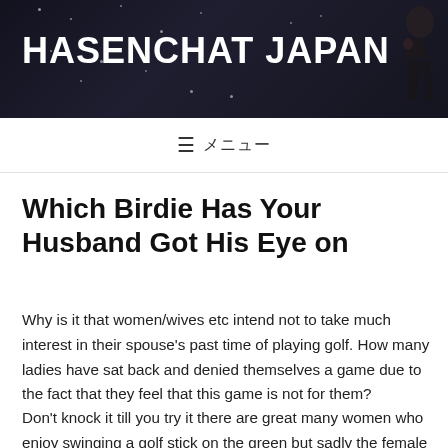HASENCHAT JAPAN
≡ メニュー
Which Birdie Has Your Husband Got His Eye on
Why is it that women/wives etc intend not to take much interest in their spouse's past time of playing golf. How many ladies have sat back and denied themselves a game due to the fact that they feel that this game is not for them?
Don't knock it till you try it there are great many women who enjoy swinging a golf stick on the green but sadly the female species consider retirement age is the best time to